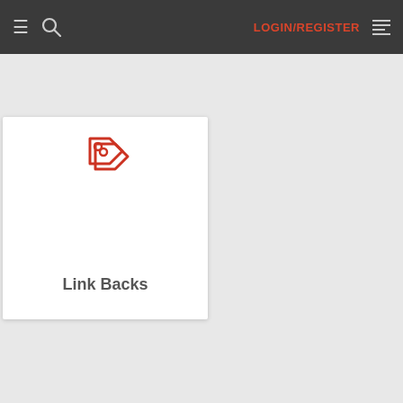☰ 🔍 LOGIN/REGISTER ≡
[Figure (other): Red tag/link icon]
Link Backs